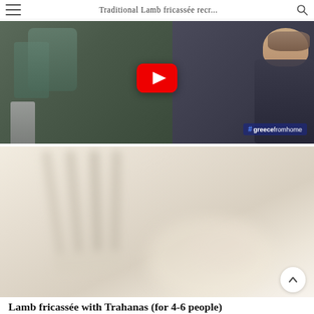Traditional Lamb fricassée recr...
[Figure (screenshot): YouTube video thumbnail showing two people in a kitchen with a YouTube play button overlay and '#greecefromhome' hashtag badge in the lower right corner]
[Figure (photo): Blurred close-up food/plate photo with fork visible, soft beige and cream tones]
Lamb fricassée with Trahanas (for 4-6 people)